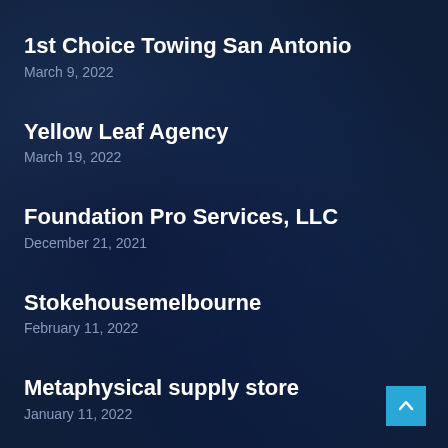1st Choice Towing San Antonio
March 9, 2022
Yellow Leaf Agency
March 19, 2022
Foundation Pro Services, LLC
December 21, 2021
Stokehousemelbourne
February 11, 2022
Metaphysical supply store
January 11, 2022